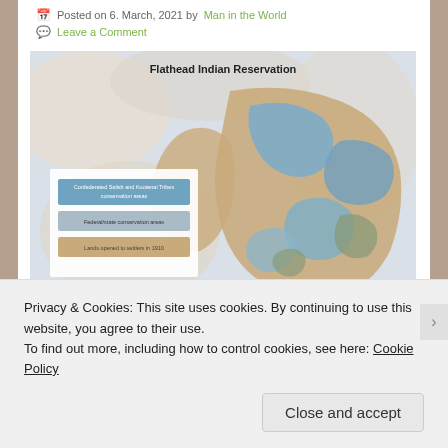Posted on 6. March, 2021 by Man in the World
Leave a Comment
[Figure (map): Map of Flathead Indian Reservation showing Confederated Salish and Kootenai Tribes conservation areas (blue), Federal/state conservation areas (grey-blue), and Lands opened to settlers in 1910 (tan/beige). Legend shown in lower left. 'National Bison' label visible at bottom right of map.]
Privacy & Cookies: This site uses cookies. By continuing to use this website, you agree to their use.
To find out more, including how to control cookies, see here: Cookie Policy
Close and accept